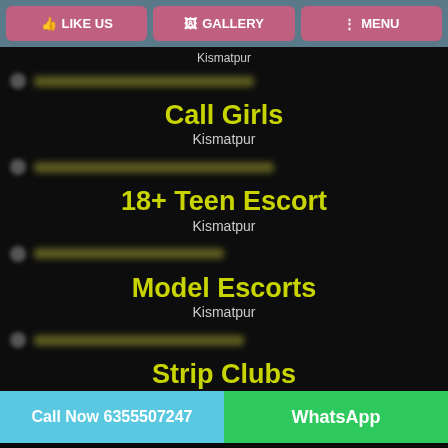LIKE US | GALLERY | MENU
Kismatpur
Call Girls
Kismatpur
18+ Teen Escort
Kismatpur
Model Escorts
Kismatpur
Strip Clubs
Kismatpur
Call Now 6355507247 | WhatsApp